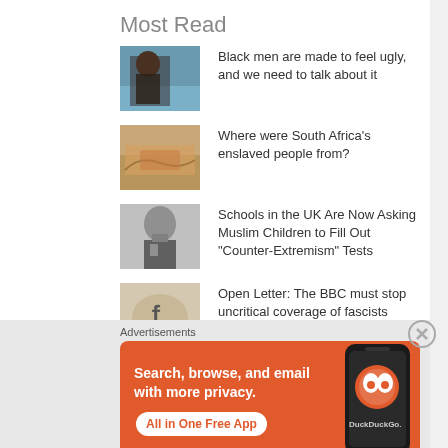Most Read
Black men are made to feel ugly, and we need to talk about it
Where were South Africa's enslaved people from?
Schools in the UK Are Now Asking Muslim Children to Fill Out "Counter-Extremism" Tests
Open Letter: The BBC must stop uncritical coverage of fascists
Who Stole all the Black Women from Britain?
Advertisements
[Figure (screenshot): DuckDuckGo advertisement banner: orange background with text 'Search, browse, and email with more privacy. All in One Free App' and a phone graphic with DuckDuckGo logo]